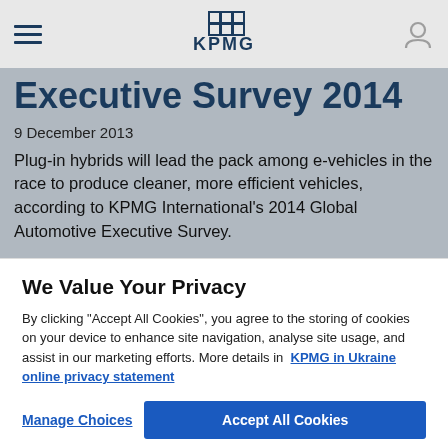KPMG
Executive Survey 2014
9 December 2013
Plug-in hybrids will lead the pack among e-vehicles in the race to produce cleaner, more efficient vehicles, according to KPMG International's 2014 Global Automotive Executive Survey.
We Value Your Privacy
By clicking “Accept All Cookies”, you agree to the storing of cookies on your device to enhance site navigation, analyse site usage, and assist in our marketing efforts. More details in  KPMG in Ukraine online privacy statement
Manage Choices | Accept All Cookies